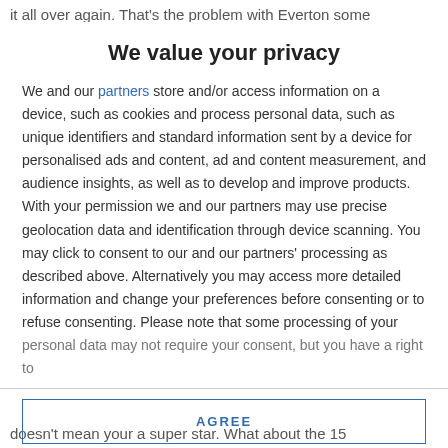it all over again. That's the problem with Everton some
We value your privacy
We and our partners store and/or access information on a device, such as cookies and process personal data, such as unique identifiers and standard information sent by a device for personalised ads and content, ad and content measurement, and audience insights, as well as to develop and improve products. With your permission we and our partners may use precise geolocation data and identification through device scanning. You may click to consent to our and our partners' processing as described above. Alternatively you may access more detailed information and change your preferences before consenting or to refuse consenting. Please note that some processing of your personal data may not require your consent, but you have a right to
AGREE
MORE OPTIONS
doesn't mean your a super star. What about the 15